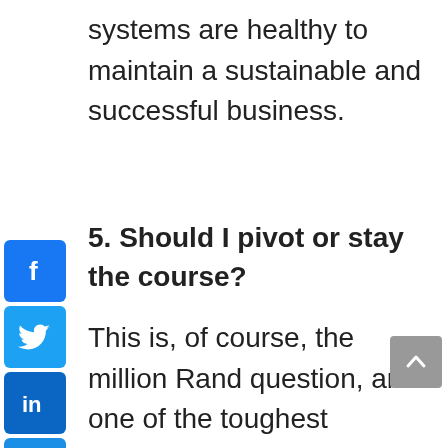systems are healthy to maintain a sustainable and successful business.
5. Should I pivot or stay the course?
This is, of course, the million Rand question, and one of the toughest decisions to make for a business. It needs to be based on both empirical and intuitive evidence and with an agile mindset. Agile is not just a concept, it is an understanding and merging of all considerations. The ability to